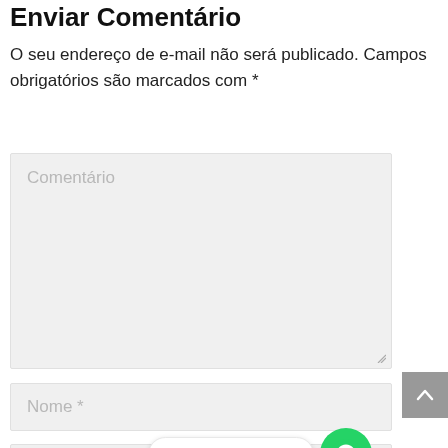Enviar Comentário
O seu endereço de e-mail não será publicado. Campos obrigatórios são marcados com *
[Figure (screenshot): Large text input field with placeholder text 'Comentário' on a light gray background with a resize handle in the bottom-right corner]
[Figure (screenshot): Text input field with placeholder text 'Nome *' on a light gray background]
[Figure (screenshot): Text input field with placeholder text 'E-mail *' alongside a WhatsApp contact button reading 'Entre em contato!' and a green WhatsApp icon, plus a gray scroll-to-top button with an up arrow]